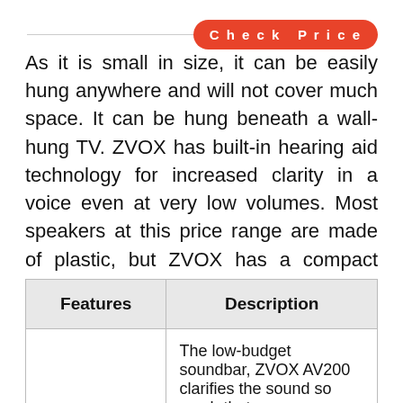As it is small in size, it can be easily hung anywhere and will not cover much space. It can be hung beneath a wall-hung TV. ZVOX has built-in hearing aid technology for increased clarity in a voice even at very low volumes. Most speakers at this price range are made of plastic, but ZVOX has a compact aluminum cabinet.
| Features | Description |
| --- | --- |
|  | The low-budget soundbar, ZVOX AV200 clarifies the sound so much that |